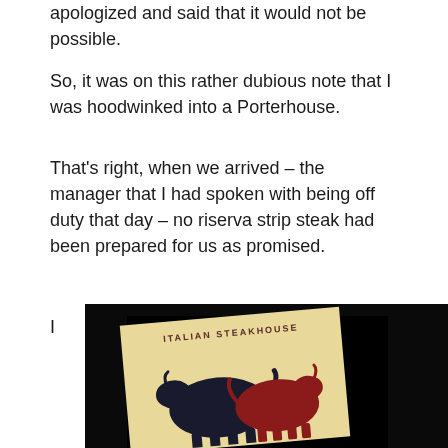apologized and said that it would not be possible.
So, it was on this rather dubious note that I was hoodwinked into a Porterhouse.
That's right, when we arrived – the manager that I had spoken with being off duty that day – no riserva strip steak had been prepared for us as promised.
I
[Figure (photo): A photo showing an Italian Steakhouse menu or card with a cream/tan background featuring two cow silhouettes (one dark/black and one red) and the text 'ITALIAN STEAKHOUSE' in an arc above, set against a dark/black background.]